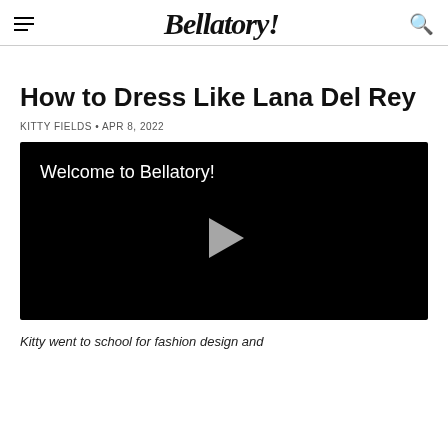Bellatory
How to Dress Like Lana Del Rey
KITTY FIELDS • APR 8, 2022
[Figure (screenshot): Black video player with white text 'Welcome to Bellatory!' and a grey play button in the center]
Kitty went to school for fashion design and